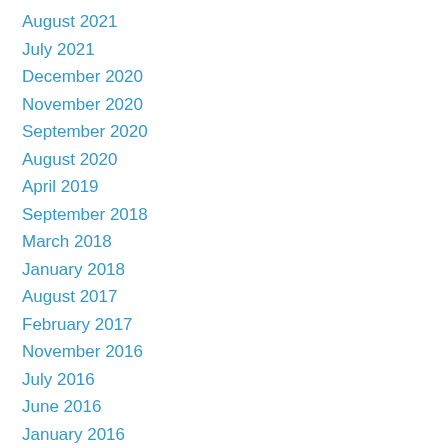August 2021
July 2021
December 2020
November 2020
September 2020
August 2020
April 2019
September 2018
March 2018
January 2018
August 2017
February 2017
November 2016
July 2016
June 2016
January 2016
October 2015
May 2015
April 2015
January 2015
October 2014